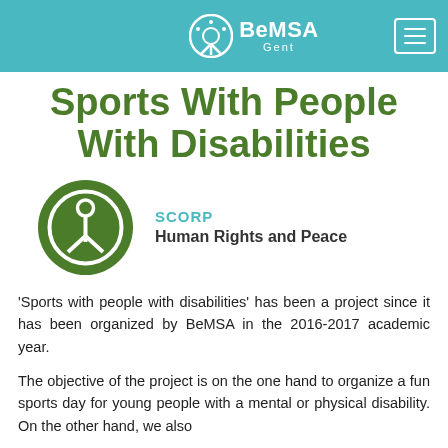BeMSA Gent
Sports With People With Disabilities
[Figure (logo): Green circular SCORP logo with person/peace symbol icon, next to text 'SCORP Human Rights and Peace']
'Sports with people with disabilities' has been a project since it has been organized by BeMSA in the 2016-2017 academic year.
The objective of the project is on the one hand to organize a fun sports day for young people with a mental or physical disability. On the other hand, we also